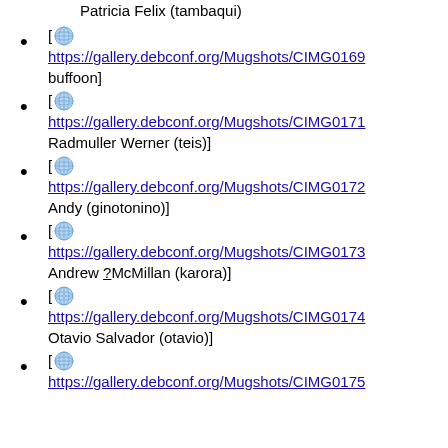Patricia Felix (tambaqui)
[ https://gallery.debconf.org/Mugshots/CIMG0169 buffoon]
[ https://gallery.debconf.org/Mugshots/CIMG0171 Radmuller Werner (teis)]
[ https://gallery.debconf.org/Mugshots/CIMG0172 Andy (ginotonino)]
[ https://gallery.debconf.org/Mugshots/CIMG0173 Andrew ?McMillan (karora)]
[ https://gallery.debconf.org/Mugshots/CIMG0174 Otavio Salvador (otavio)]
[ https://gallery.debconf.org/Mugshots/CIMG0175